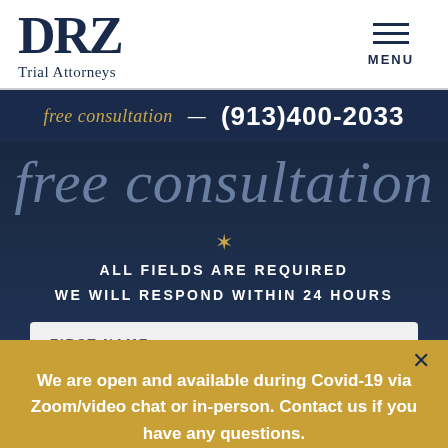[Figure (logo): DRZ Trial Attorneys logo with large serif DRZ text and 'Trial Attorneys' subtitle]
MENU
free consultation — (913)400-2033
free consultation
ALL FIELDS ARE REQUIRED
WE WILL RESPOND WITHIN 24 HOURS
FIRST NAME
×
We are open and available during Covid-19 via Zoom/video chat or in-person. Contact us if you have any questions.